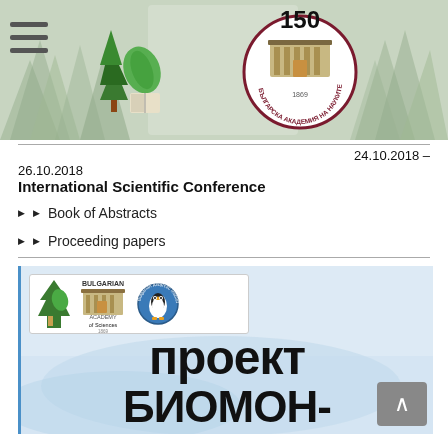[Figure (logo): Header banner with forest tree background, hamburger menu icon on left, and Bulgarian Academy of Sciences 150th anniversary circular logo in center]
24.10.2018 – 26.10.2018
International Scientific Conference
Book of Abstracts
Proceeding papers
[Figure (screenshot): Bottom section showing institutional logos (Bulgarian Academy of Sciences tree logo, BAN text logo, Bulgarian Antarctic Institute penguin logo) and large Cyrillic text reading 'проект БИОМОН-' with icy/water background. Scroll-to-top button in bottom right.]